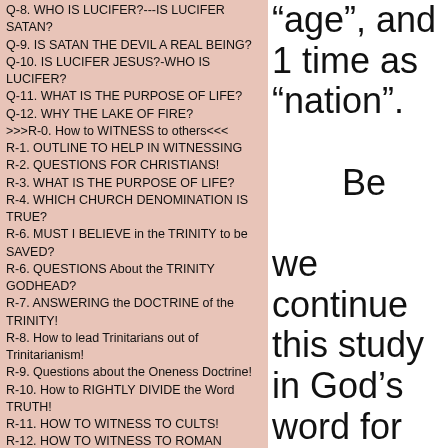Q-8. WHO IS LUCIFER?---IS LUCIFER SATAN?
Q-9. IS SATAN THE DEVIL A REAL BEING?
Q-10. IS LUCIFER JESUS?-WHO IS LUCIFER?
Q-11. WHAT IS THE PURPOSE OF LIFE?
Q-12. WHY THE LAKE OF FIRE?
>>>R-0. How to WITNESS to others<<<
R-1. OUTLINE TO HELP IN WITNESSING
R-2. QUESTIONS FOR CHRISTIANS!
R-3. WHAT IS THE PURPOSE OF LIFE?
R-4. WHICH CHURCH DENOMINATION IS TRUE?
R-6. MUST I BELIEVE in the TRINITY to be SAVED?
R-6. QUESTIONS About the TRINITY GODHEAD?
R-7. ANSWERING the DOCTRINE of the TRINITY!
R-8. How to lead Trinitarians out of Trinitarianism!
R-9. Questions about the Oneness Doctrine!
R-10. How to RIGHTLY DIVIDE the Word TRUTH!
R-11. HOW TO WITNESS TO CULTS!
R-12. HOW TO WITNESS TO ROMAN CATHOLICS!
R-13. HOW TO WITNESS TO MORMONS
R-14. Is Jehovah's Witnesses Biblical Christianity?
R-15. HOW to SAVE THOSE WHO are DECEIVED!
R-16. How WITNESS to SABBATH-KEEPERS!
R-17. WHICH COVENANT MUST WE OBEY?
“age”, and 1 time as “nation”. Be we continue this study in God’s word for those of you who are TRULY seeking to know the TRUE